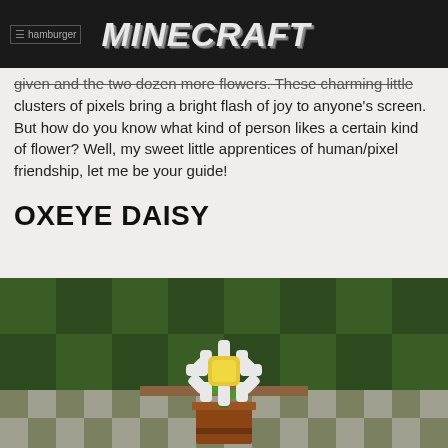hamburger MINECRAFT
given and the dozen more flowers. Those charming little clusters of pixels bring a bright flash of joy to anyone's screen. But how do you know what kind of person likes a certain kind of flower? Well, my sweet little apprentices of human/pixel friendship, let me be your guide!
OXEYE DAISY
[Figure (photo): Minecraft screenshot of an oxeye daisy flower in a flower pot placed on a stone/grass floor with green hedge background]